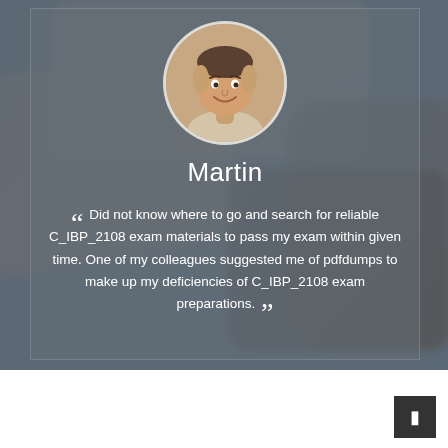[Figure (photo): Circular portrait photo of a smiling man named Martin, set against a blurred background image of a laptop on a desk. A semi-transparent card overlay contains the name and testimonial text.]
Martin
“ Did not know where to go and search for reliable C_IBP_2108 exam materials to pass my exam within given time. One of my colleagues suggested me of pdfdumps to make up my deficiencies of C_IBP_2108 exam preparations. ”